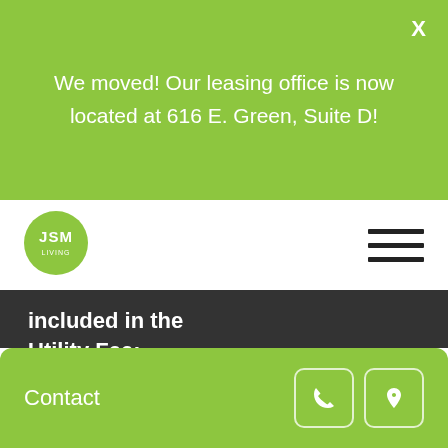We moved! Our leasing office is now located at 616 E. Green, Suite D!
[Figure (logo): JSM logo — green circle with white 'JSM' text]
included in the Utility Fee:
Amenities
Secure Entry
Leased Parking
Laundry In Unit
JSM VIP Program Access
Contact